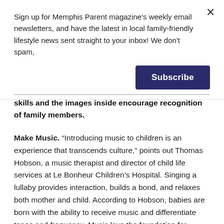Sign up for Memphis Parent magazine's weekly email newsletters, and have the latest in local family-friendly lifestyle news sent straight to your inbox! We don't spam,
[Figure (other): Subscribe button — dark navy rectangular button with white bold text 'Subscribe']
skills and the images inside encourage recognition of family members.
Make Music. “Introducing music to children is an experience that transcends culture,” points out Thomas Hobson, a music therapist and director of child life services at Le Bonheur Children’s Hospital. Singing a lullaby provides interaction, builds a bond, and relaxes both mother and child. According to Hobson, babies are born with the ability to receive music and differentiate tones and frequency. Music lays the foundation for spatial awareness and language acquisition.